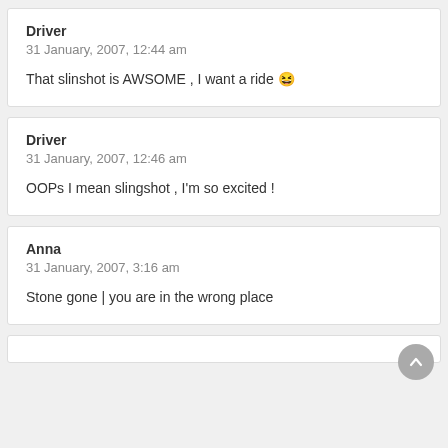Driver
31 January, 2007, 12:44 am

That slinshot is AWSOME , I want a ride 😆
Driver
31 January, 2007, 12:46 am

OOPs I mean slingshot , I'm so excited !
Anna
31 January, 2007, 3:16 am

Stone gone | you are in the wrong place